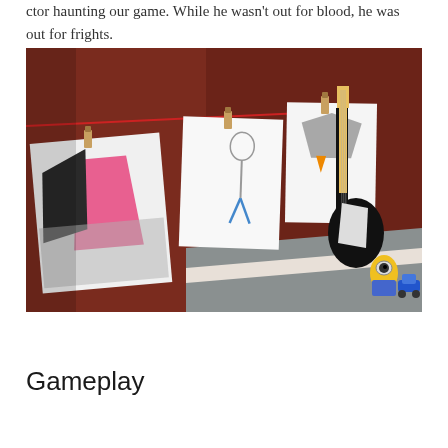ctor haunting our game. While he wasn't out for blood, he was out for frights.
[Figure (photo): A room with dark reddish-brown walls. Several children's drawings are clipped with clothespins to a red string/wire along the wall. The drawings depict various characters. In the right corner, a toy electric guitar (black and yellow) leans against the wall, and small toys (a Minion figure and a blue toy car) sit on a grey carpet near the baseboard.]
Gameplay